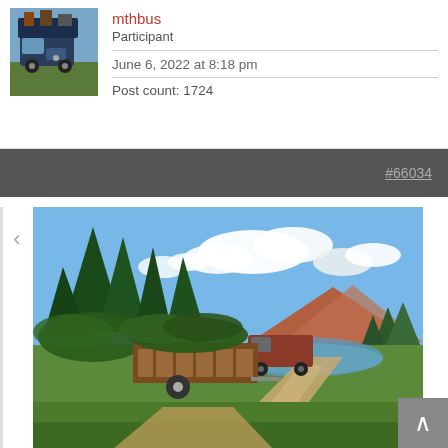[Figure (photo): Avatar photo of mthbus user — a VW bus loaded with gear]
mthbus
Participant
June 6, 2022 at 8:18 pm
Post count: 1724
#66034
[Figure (photo): Outdoor landscape photo: a trailer loaded with tree branches/logs parked on a dirt road beside a mountain lake, with evergreen trees, a hill, and blue sky with white clouds in the background. An old truck is visible behind the trailer.]